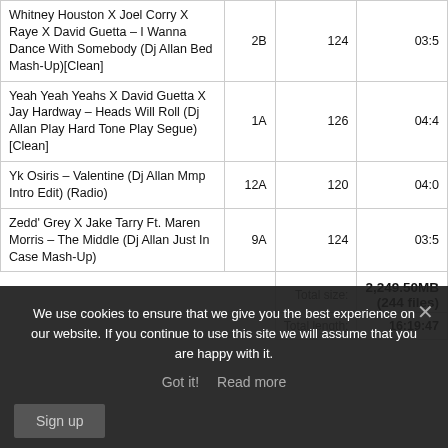| Track | Key | BPM | Duration |
| --- | --- | --- | --- |
| Whitney Houston X Joel Corry X Raye X David Guetta – I Wanna Dance With Somebody (Dj Allan Bed Mash-Up)[Clean] | 2B | 124 | 03:5 |
| Yeah Yeah Yeahs X David Guetta X Jay Hardway – Heads Will Roll (Dj Allan Play Hard Tone Play Segue)[Clean] | 1A | 126 | 04:4 |
| Yk Osiris – Valentine (Dj Allan Mmp Intro Edit) (Radio) | 12A | 120 | 04:0 |
| Zedd' Grey X Jake Tarry Ft. Maren Morris – The Middle (Dj Allan Just In Case Mash-Up) | 9A | 124 | 03:5 |
Total size: 2,249.50MB (244 files)
Total length: 16:19:47
We use cookies to ensure that we give you the best experience on our website. If you continue to use this site we will assume that you are happy with it.
Got it!   Read more